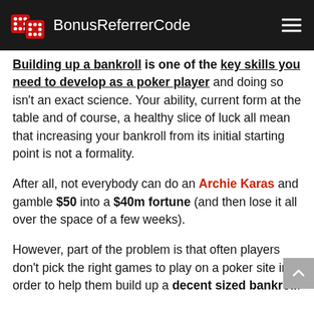BonusReferrerCode
Building up a bankroll is one of the key skills you need to develop as a poker player and doing so isn't an exact science. Your ability, current form at the table and of course, a healthy slice of luck all mean that increasing your bankroll from its initial starting point is not a formality.
After all, not everybody can do an Archie Karas and gamble $50 into a $40m fortune (and then lose it all over the space of a few weeks).
However, part of the problem is that often players don't pick the right games to play on a poker site in order to help them build up a decent sized bankroll.